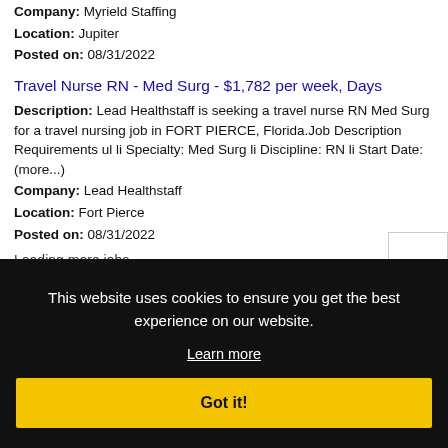Company: Myrield Staffing
Location: Jupiter
Posted on: 08/31/2022
Travel Nurse RN - Med Surg - $1,782 per week, Days
Description: Lead Healthstaff is seeking a travel nurse RN Med Surg for a travel nursing job in FORT PIERCE, Florida.Job Description Requirements ul li Specialty: Med Surg li Discipline: RN li Start Date: (more...)
Company: Lead Healthstaff
Location: Fort Pierce
Posted on: 08/31/2022
Loading more jobs...
This website uses cookies to ensure you get the best experience on our website.
Learn more
Got it!